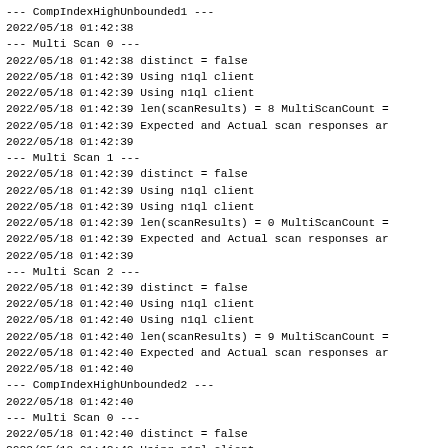--- CompIndexHighUnbounded1 ---
2022/05/18 01:42:38
--- Multi Scan 0 ---
2022/05/18 01:42:38 distinct = false
2022/05/18 01:42:39 Using n1ql client
2022/05/18 01:42:39 Using n1ql client
2022/05/18 01:42:39 len(scanResults) = 8 MultiScanCount =
2022/05/18 01:42:39 Expected and Actual scan responses ar
2022/05/18 01:42:39
--- Multi Scan 1 ---
2022/05/18 01:42:39 distinct = false
2022/05/18 01:42:39 Using n1ql client
2022/05/18 01:42:39 Using n1ql client
2022/05/18 01:42:39 len(scanResults) = 0 MultiScanCount =
2022/05/18 01:42:39 Expected and Actual scan responses ar
2022/05/18 01:42:39
--- Multi Scan 2 ---
2022/05/18 01:42:39 distinct = false
2022/05/18 01:42:40 Using n1ql client
2022/05/18 01:42:40 Using n1ql client
2022/05/18 01:42:40 len(scanResults) = 9 MultiScanCount =
2022/05/18 01:42:40 Expected and Actual scan responses ar
2022/05/18 01:42:40
--- CompIndexHighUnbounded2 ---
2022/05/18 01:42:40
--- Multi Scan 0 ---
2022/05/18 01:42:40 distinct = false
2022/05/18 01:42:40 Using n1ql client
2022/05/18 01:42:40 Using n1ql client
2022/05/18 01:42:40 len(scanResults) = 4138 MultiScanCoun
2022/05/18 01:42:40 Expected and Actual scan responses ar